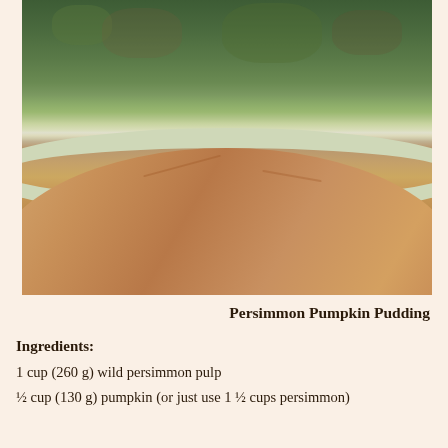[Figure (photo): Close-up photo of a persimmon pumpkin pudding in a pale green round baking dish, viewed from a low angle. The pudding has a domed top with a reddish-brown surface. Green trees are visible in the background.]
Persimmon Pumpkin Pudding
Ingredients:
1 cup (260 g) wild persimmon pulp
½ cup (130 g) pumpkin (or just use 1 ½ cups persimmon)